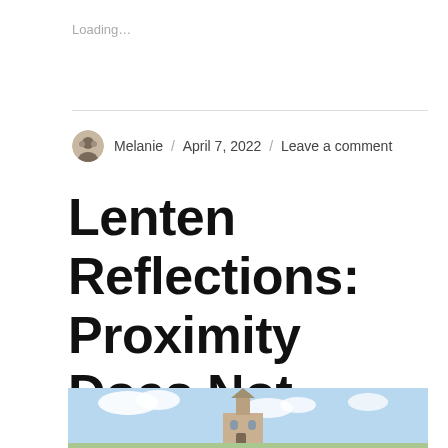Loading...
Melanie / April 7, 2022 / Leave a comment
Lenten Reflections: Proximity Does Not Equal Intimacy
[Figure (photo): Church building with steeple against a blue sky with white clouds, visible at bottom of page]